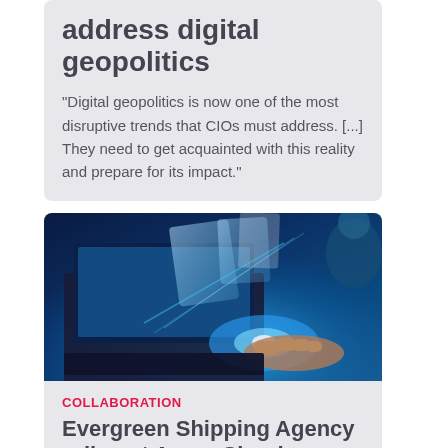address digital geopolitics
“Digital geopolitics is now one of the most disruptive trends that CIOs must address. [...] They need to get acquainted with this reality and prepare for its impact.”
[Figure (photo): A person typing on a laptop with glowing blue digital holographic screens and interface elements floating above the keyboard, representing digital technology and collaboration.]
COLLABORATION
Evergreen Shipping Agency rolls out Azure Cloud Office...